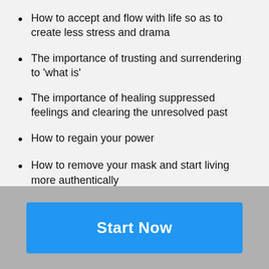How to accept and flow with life so as to create less stress and drama
The importance of trusting and surrendering to 'what is'
The importance of healing suppressed feelings and clearing the unresolved past
How to regain your power
How to remove your mask and start living more authentically
Start Now